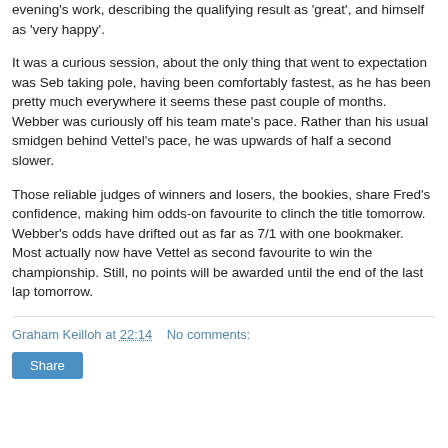evening's work, describing the qualifying result as 'great', and himself as 'very happy'.
It was a curious session, about the only thing that went to expectation was Seb taking pole, having been comfortably fastest, as he has been pretty much everywhere it seems these past couple of months. Webber was curiously off his team mate's pace. Rather than his usual smidgen behind Vettel's pace, he was upwards of half a second slower.
Those reliable judges of winners and losers, the bookies, share Fred's confidence, making him odds-on favourite to clinch the title tomorrow. Webber's odds have drifted out as far as 7/1 with one bookmaker. Most actually now have Vettel as second favourite to win the championship. Still, no points will be awarded until the end of the last lap tomorrow.
Graham Keilloh at 22:14   No comments: